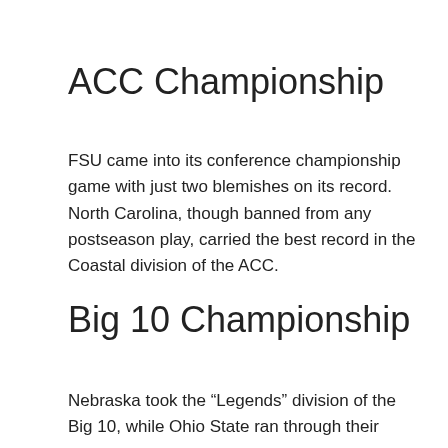ACC Championship
FSU came into its conference championship game with just two blemishes on its record. North Carolina, though banned from any postseason play, carried the best record in the Coastal division of the ACC.
Big 10 Championship
Nebraska took the “Legends” division of the Big 10, while Ohio State ran through their